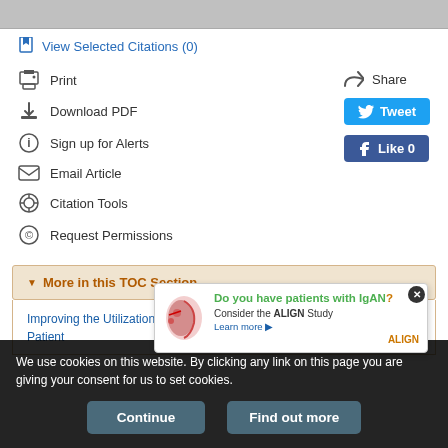View Selected Citations (0)
Print
Share
Download PDF
Tweet
Sign up for Alerts
Like 0
Email Article
Citation Tools
Request Permissions
More in this TOC Section
Improving the Utilization of Deceased Donor Kidneys by Prioritizing Patient
[Figure (infographic): Advertisement overlay: Do you have patients with IgAN? Consider the ALIGN Study. Learn more. ALIGN logo with kidney illustration.]
We use cookies on this website. By clicking any link on this page you are giving your consent for us to set cookies.
Continue    Find out more